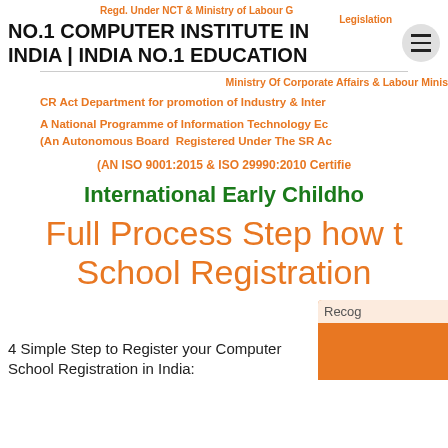Regd. Under NCT & Ministry of Labour Govt. | Legislation | Govt. Ministry Of Corporate Affairs & Labour Ministry
NO.1 COMPUTER INSTITUTE IN INDIA | INDIA NO.1 EDUCATION
CR Act Department for promotion of Industry & Inter...
A National Programme of Information Technology Edu... (An Autonomous Board Registered Under The SR Ac...
(AN ISO 9001:2015 & ISO 29990:2010 Certifie...
International Early Childho...
Full Process Step how t... School Registration...
4 Simple Step to Register your Computer School Registration in India:
[Figure (photo): Recog... photo of children]